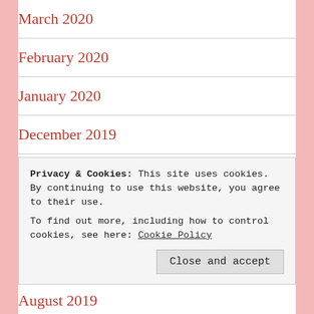March 2020
February 2020
January 2020
December 2019
November 2019
October 2019
Privacy & Cookies: This site uses cookies. By continuing to use this website, you agree to their use.
To find out more, including how to control cookies, see here: Cookie Policy
August 2019